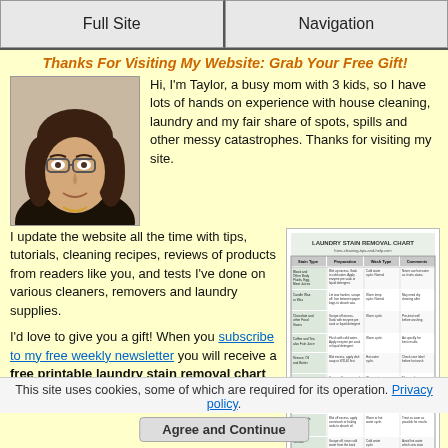Full Site | Navigation
Thanks For Visiting My Website: Grab Your Free Gift!
[Figure (photo): Photo of Taylor, a woman with glasses and dark hair]
Hi, I'm Taylor, a busy mom with 3 kids, so I have lots of hands on experience with house cleaning, laundry and my fair share of spots, spills and other messy catastrophes. Thanks for visiting my site.
I update the website all the time with tips, tutorials, cleaning recipes, reviews of products from readers like you, and tests I've done on various cleaners, removers and laundry supplies.
[Figure (table-as-image): Laundry Stain Removal Chart printed document]
I'd love to give you a gift! When you subscribe to my free weekly newsletter you will receive a free printable laundry stain removal chart
This site uses cookies, some of which are required for its operation. Privacy policy.
Agree and Continue